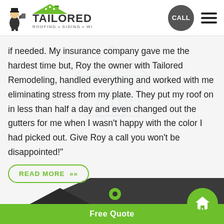[Figure (logo): Tailored Roofing Siding Windows Baths company logo with cartoon figure and green house icon]
if needed. My insurance company gave me the hardest time but, Roy the owner with Tailored Remodeling, handled everything and worked with me eliminating stress from my plate. They put my roof on in less than half a day and even changed out the gutters for me when I wasn't happy with the color I had picked out. Give Roy a call you won't be disappointed!"
READ MORE »
Free Quote